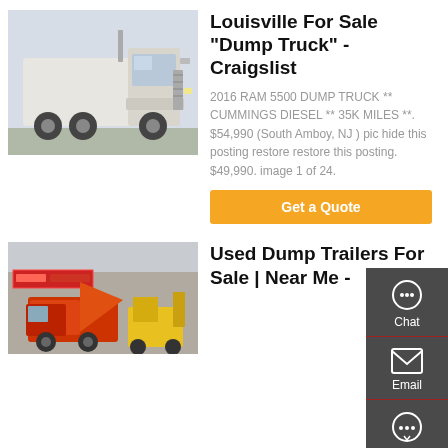[Figure (photo): White semi truck / tractor unit photographed outdoors]
Louisville For Sale "Dump Truck" - Craigslist
2016 RAM 5500 DUMP TRUCK ** CUMMINGS DIESEL ** 35K MILES **. $54,990 (South Amboy, NJ ) pic hide this posting restore restore this posting. $49,990. image 1 of 24.
[Figure (screenshot): Orange 'Get a Quote' button]
[Figure (photo): Red and orange dump truck / construction vehicles at a yard with signage in Chinese]
Used Dump Trailers For Sale | Near Me -